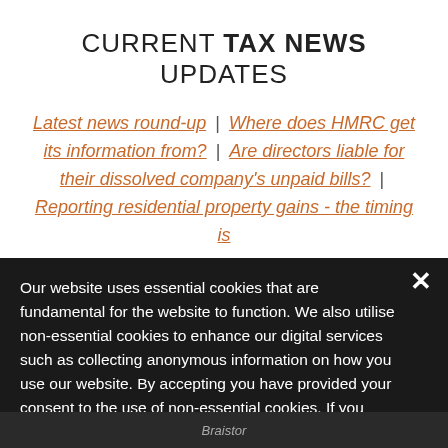CURRENT TAX NEWS UPDATES
Latest news round-up | Where does HMRC get its information from? | Are directors liable for their dissolved company's unpaid bills? | Reporting residential property gains - the timing is
Our website uses essential cookies that are fundamental for the website to function. We also utilise non-essential cookies to enhance our digital services such as collecting anonymous information on how you use our website. By accepting you have provided your consent to the use of non-essential cookies. If you would like to change this, please click on 'Change cookie settings'.
Accept & Close
Change cookie settings
Braistor